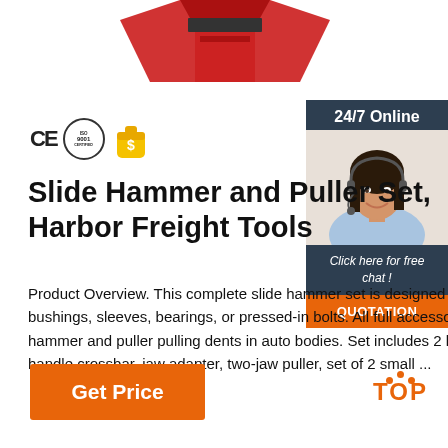[Figure (photo): Red slide hammer tool image at top center]
[Figure (logo): CE certification mark, ISO 9001 certification circle, and gold dollar bag icon]
[Figure (photo): 24/7 Online chat panel with woman wearing headset, Click here for free chat bubble, and QUOTATION button]
Slide Hammer and Puller Set, Harbor Freight Tools
Product Overview. This complete slide hammer set is designed to remove stubborn bushings, sleeves, bearings, or pressed-in bolts. All full accessories make the slide hammer and puller pulling dents in auto bodies. Set includes 2 lb. slide hammer, handle crossbar, jaw adapter, two-jaw puller, set of 2 small ...
[Figure (logo): TOP button with orange dots arranged in triangle above the word TOP in orange]
Get Price